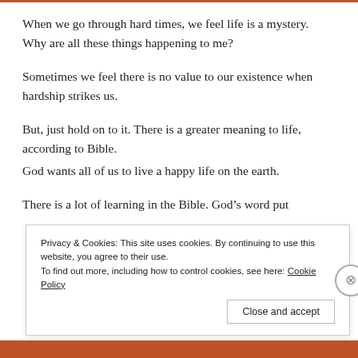When we go through hard times, we feel life is a mystery. Why are all these things happening to me?
Sometimes we feel there is no value to our existence when hardship strikes us.
But, just hold on to it. There is a greater meaning to life, according to Bible.
God wants all of us to live a happy life on the earth.
There is a lot of learning in the Bible. God’s word put
Privacy & Cookies: This site uses cookies. By continuing to use this website, you agree to their use.
To find out more, including how to control cookies, see here: Cookie Policy
Close and accept